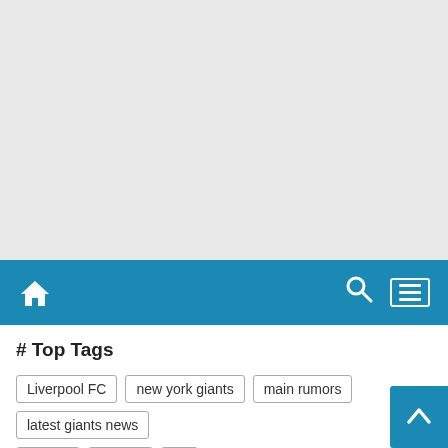[Figure (other): Advertisement / placeholder area with light gray background]
Navigation bar with home icon, search icon, and menu icon on blue background
# Top Tags
Liverpool FC
new york giants
main rumors
latest giants news
games
politics
us
er EN VIVO Cádiz vs Atlético de Madrid En Directo y Gratis en